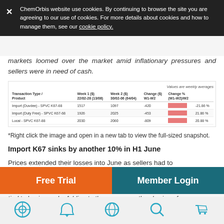ChemOrbis website use cookies. By continuing to browse the site you are agreeing to our use of cookies. For more details about cookies and how to manage them, see our cookie policy.
markets loomed over the market amid inflationary pressures and sellers were in need of cash.
[Figure (table-as-image): Price table showing Transaction Type/Product, Week 1 (S) 22/02-28 (13/08), Week 2 (S) 30/02-06 (64/04), Change (S) W1-W2, and Change % (W1-W2)/W2 for Import (Duvdee) SPVC K67-68, Import (Duty Free) SPVC K67-68, and Local SPVC K67-88]
*Right click the image and open in a new tab to view the full-sized snapshot.
Import K67 sinks by another 10% in H1 June
Prices extended their losses into June as sellers had to
tied to basic needs. Adding to the scene was the slowing of